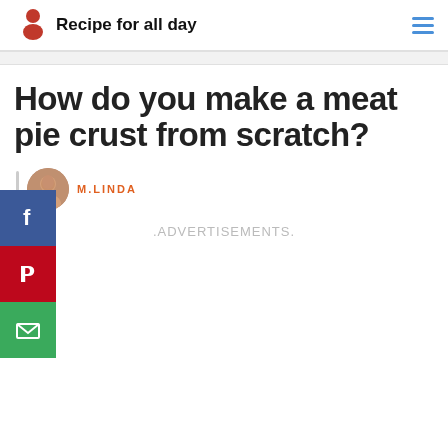Recipe for all day
How do you make a meat pie crust from scratch?
M.LINDA
.ADVERTISEMENTS.